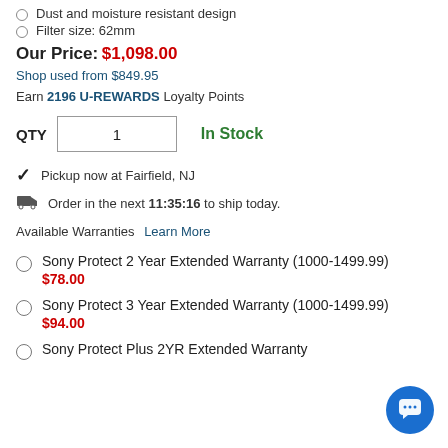Dust and moisture resistant design
Filter size: 62mm
Our Price: $1,098.00
Shop used from $849.95
Earn 2196 U-REWARDS Loyalty Points
QTY 1   In Stock
Pickup now at Fairfield, NJ
Order in the next 11:35:16 to ship today.
Available Warranties Learn More
Sony Protect 2 Year Extended Warranty (1000-1499.99)
$78.00
Sony Protect 3 Year Extended Warranty (1000-1499.99)
$94.00
Sony Protect Plus 2YR Extended Warranty